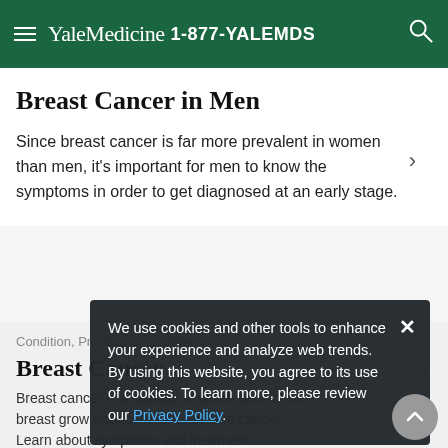Yale Medicine 1-877-YALEMDS
Breast Cancer in Men
Since breast cancer is far more prevalent in women than men, it's important for men to know the symptoms in order to get diagnosed at an early stage.
Condition, Procedure, Treatment
Breast Cancer
Breast cancer is a disease in which cells in the breast grow erratically and turn into cancer. Learn about symptoms and treatment.
We use cookies and other tools to enhance your experience and analyze web trends. By using this website, you agree to its use of cookies. To learn more, please review our Privacy Policy.